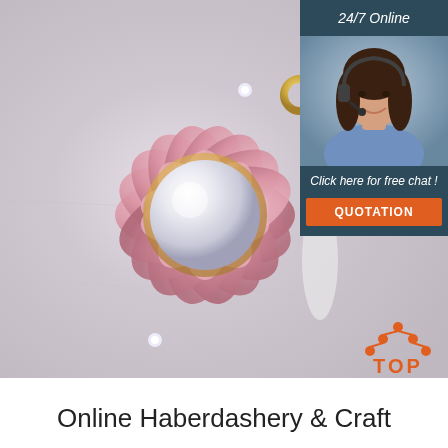[Figure (photo): Close-up photo of a pink enamel flower brooch/pendant with a large white pearl center, rhinestone accents, and a gold ring clasp at top. Background is light grey/white surface. In the top-right corner is a dark teal chat widget showing '24/7 Online', a smiling female customer service agent with headset, 'Click here for free chat!' text, and an orange 'QUOTATION' button.]
[Figure (logo): Orange 'TOP' logo with an upward-pointing chevron/arrow shape made of dots above the word TOP in orange bold letters.]
Online Haberdashery & Craft